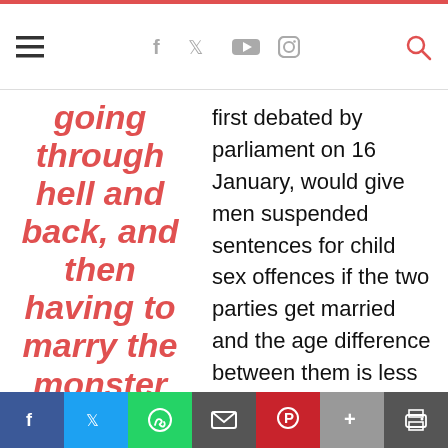Navigation bar with hamburger menu, social icons (f, twitter, youtube, instagram), and search
going through hell and back, and then having to marry the monster who forcefully took away
first debated by parliament on 16 January, would give men suspended sentences for child sex offences if the two parties get married and the age difference between them is less than 10 years. According to The Guardian, President Recep Tayyip Erdoğan's conservative Justice and Development party (AKP) has said the proposal is designed to deal
Share bar: Facebook, Twitter, WhatsApp, Email, Pinterest, More, Print